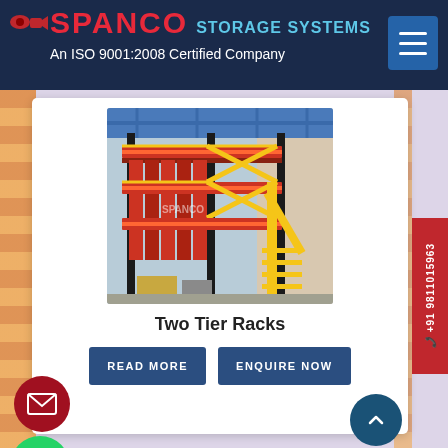[Figure (logo): Spanco Storage Systems logo with red SPANCO text and blue STORAGE SYSTEMS text on dark navy header, with camera/CCTV icon, and ISO 9001:2008 certification text]
An ISO 9001:2008 Certified Company
[Figure (photo): Warehouse interior showing two-tier metal storage racks/mezzanine structure with orange/red shelving, yellow safety railings, and a staircase, with blue steel roof structure visible above]
Two Tier Racks
READ MORE
ENQUIRE NOW